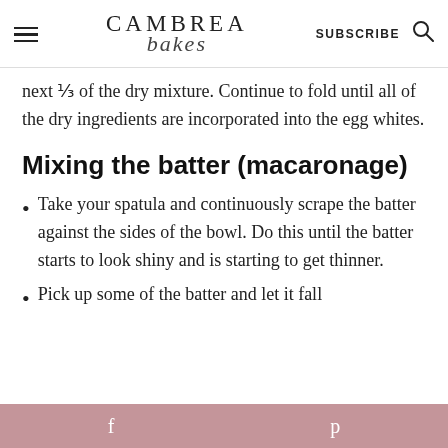CAMBREA bakes — SUBSCRIBE
next ⅓ of the dry mixture. Continue to fold until all of the dry ingredients are incorporated into the egg whites.
Mixing the batter (macaronage)
Take your spatula and continuously scrape the batter against the sides of the bowl. Do this until the batter starts to look shiny and is starting to get thinner.
Pick up some of the batter and let it fall
f   p